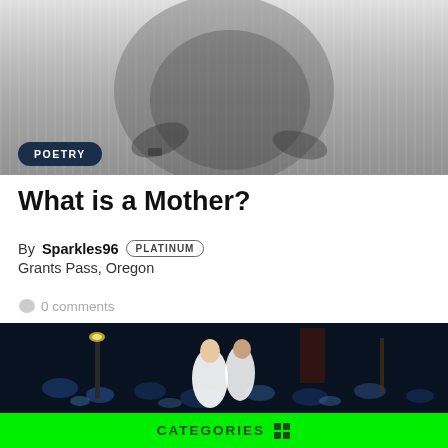[Figure (photo): Black and white photo of a pregnant person in a striped dress, cropped to show torso area]
POETRY
What is a Mother?
By Sparkles96 PLATINUM
Grants Pass, Oregon
0 comments
[Figure (illustration): Colorful illustration of two people dancing tango on blue cobblestone street at night, with a lamp post and buildings in background]
CATEGORIES